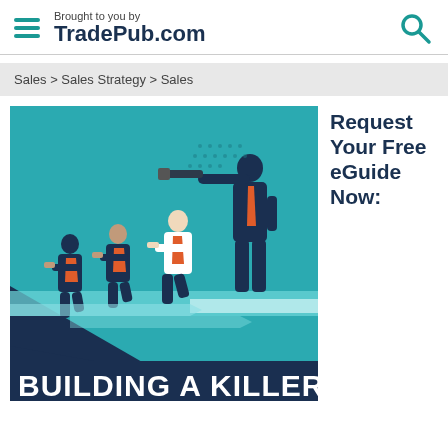Brought to you by TradePub.com
Sales > Sales Strategy > Sales
[Figure (illustration): Illustration of business people running forward in a race, with one tall figure standing looking through a telescope. Text at bottom reads BUILDING A KILLER. Teal background with dark navy accents.]
Request Your Free eGuide Now: